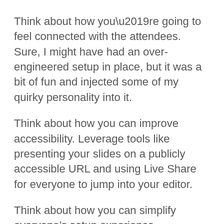Think about how you’re going to feel connected with the attendees. Sure, I might have had an over-engineered setup in place, but it was a bit of fun and injected some of my quirky personality into it.
Think about how you can improve accessibility. Leverage tools like presenting your slides on a publicly accessible URL and using Live Share for everyone to jump into your editor.
Think about how you can simplify everyone’s setup experience, remembering that you’re unlikely to be able to see their screen and help them debug, so give them the tools